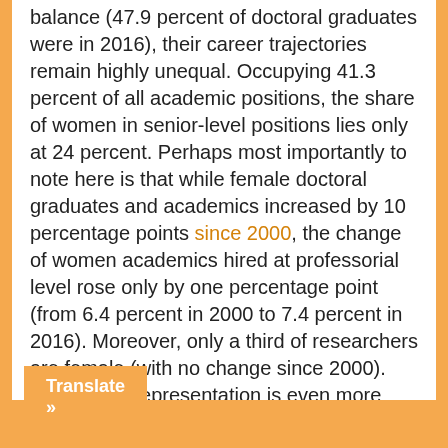balance (47.9 percent of doctoral graduates were women in 2016), their career trajectories remain highly unequal. Occupying 41.3 percent of all academic positions, the share of women in senior-level positions lies only at 24 percent. Perhaps most importantly to note here is that while female doctoral graduates and academics increased by 10 percentage points since 2000, the change of women academics hired at professorial level rose only by one percentage point (from 6.4 percent in 2000 to 7.4 percent in 2016). Moreover, only a third of researchers are female (with no change since 2000). The lack of representation is even more alarming in the case of minority women. With only 25 female black professors (out of 21,000 professors), white women and black men are six times more likely to become full professors in the UK.
Translate »